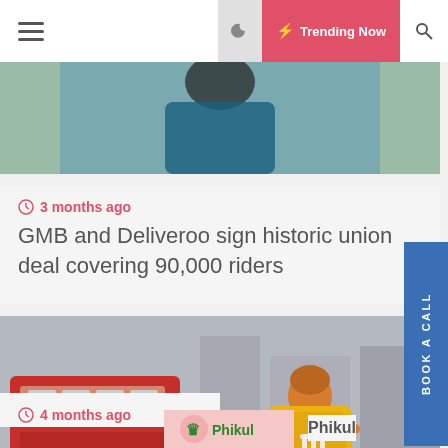≡  ☾  ⚡ Trending Now  🔍
[Figure (photo): Partial photo of a person in blue clothing, possibly a delivery rider, cropped at top of page]
🕐 3 months ago
GMB and Deliveroo sign historic union deal covering 90,000 riders
[Figure (photo): Just Eat delivery rider on bicycle wearing orange jacket with large yellow Just Eat branded insulated backpack, red double-decker bus in background on city street]
🕐 4 months ago
[Figure (logo): Phikul logo — pink/red background with green crown/trophy icon and 'Phikul' text in green]
Phikul